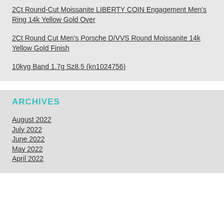2Ct Round-Cut Moissanite LIBERTY COIN Engagement Men's Ring 14k Yellow Gold Over
2Ct Round Cut Men's Porsche D/VVS Round Moissanite 14k Yellow Gold Finish
10kyg Band 1.7g Sz8.5 (kn1024756)
ARCHIVES
August 2022
July 2022
June 2022
May 2022
April 2022